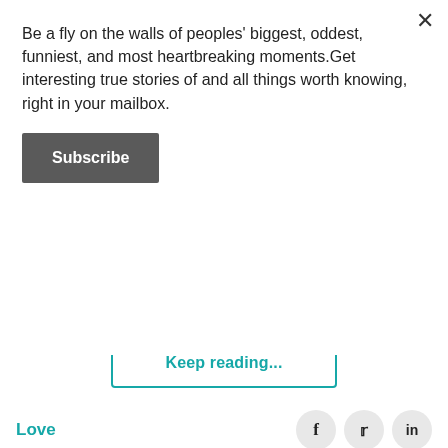Be a fly on the walls of peoples' biggest, oddest, funniest, and most heartbreaking moments.Get interesting true stories of and all things worth knowing, right in your mailbox.
Subscribe
Keep reading...
Love
[Figure (screenshot): Newsletter subscription banner with teal background, purple block, avatar, and yellow speech bubble saying 'Hi friend — subscribe to my mailing list to get an inbox updates of news, funnies']